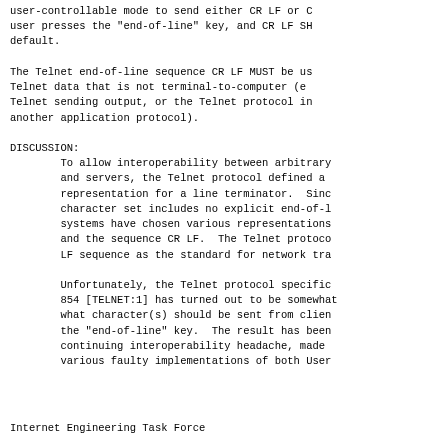user-controllable mode to send either CR LF or C
user presses the "end-of-line" key, and CR LF SH
default.

The Telnet end-of-line sequence CR LF MUST be us
Telnet data that is not terminal-to-computer (e
Telnet sending output, or the Telnet protocol in
another application protocol).

DISCUSSION:
        To allow interoperability between arbitrary
        and servers, the Telnet protocol defined a
        representation for a line terminator.  Sinc
        character set includes no explicit end-of-l
        systems have chosen various representations
        and the sequence CR LF.  The Telnet protoco
        LF sequence as the standard for network tra

        Unfortunately, the Telnet protocol specific
        854 [TELNET:1] has turned out to be somewhat
        what character(s) should be sent from clien
        the "end-of-line" key.  The result has been
        continuing interoperability headache, made
        various faulty implementations of both User
Internet Engineering Task Force